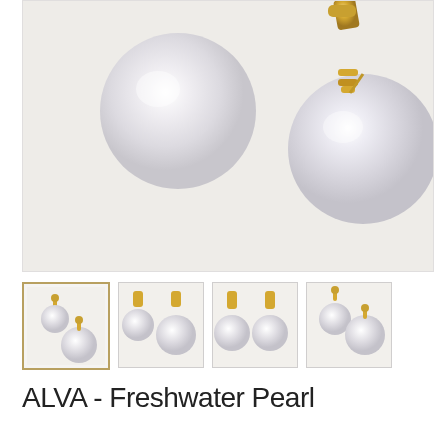[Figure (photo): Close-up product photo of pearl earrings on white/light gray background. Shows two large white pearls, one with a gold stud top and the other with a gold pendant/drop setting.]
[Figure (photo): Thumbnail 1 (selected): Small image of pearl earring set with gold stud posts, two pearl sizes side by side.]
[Figure (photo): Thumbnail 2: Image showing two pearl earrings with gold drop/pendant settings.]
[Figure (photo): Thumbnail 3: Image showing two pearl drop earrings with gold fittings.]
[Figure (photo): Thumbnail 4: Image showing pearl earrings with gold stud and drop settings.]
ALVA - Freshwater Pearl